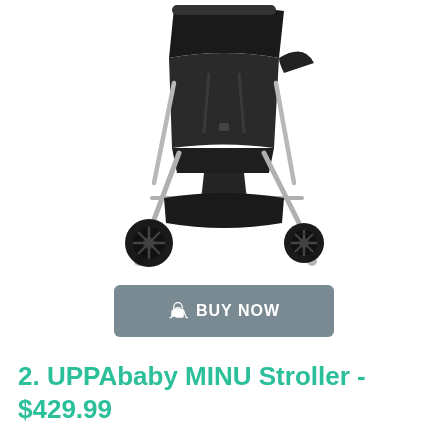[Figure (photo): UPPAbaby MINU Stroller in black color with silver frame, shown at an angle. The stroller has four wheels, a reclined seat with footrest, canopy at top, and an under-seat basket.]
👍 BUY NOW
2. UPPAbaby MINU Stroller - $429.99